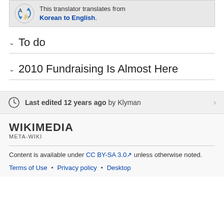This translator translates from Korean to English.
To do
2010 Fundraising Is Almost Here
Last edited 12 years ago by Klyman
[Figure (logo): Wikimedia Meta-Wiki logo]
Content is available under CC BY-SA 3.0 unless otherwise noted.
Terms of Use • Privacy policy • Desktop